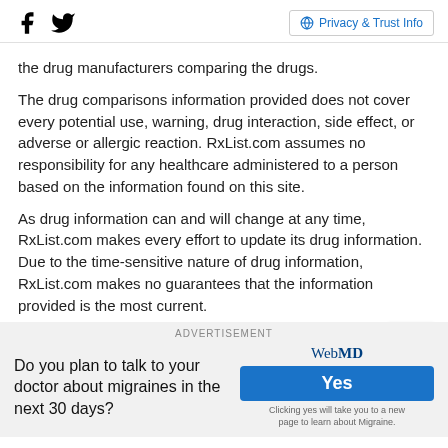Social icons (Facebook, Twitter) | Privacy & Trust Info
the drug manufacturers comparing the drugs.
The drug comparisons information provided does not cover every potential use, warning, drug interaction, side effect, or adverse or allergic reaction. RxList.com assumes no responsibility for any healthcare administered to a person based on the information found on this site.
As drug information can and will change at any time, RxList.com makes every effort to update its drug information. Due to the time-sensitive nature of drug information, RxList.com makes no guarantees that the information provided is the most current.
ADVERTISEMENT
Do you plan to talk to your doctor about migraines in the next 30 days?
WebMD Yes Clicking yes will take you to a new page to learn about Migraine.